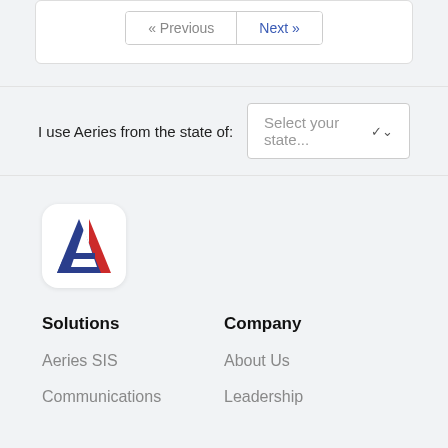« Previous   Next »
I use Aeries from the state of:   Select your state...
[Figure (logo): Aeries logo: blue and red letter A on white rounded square background]
Solutions
Company
Aeries SIS
About Us
Communications
Leadership